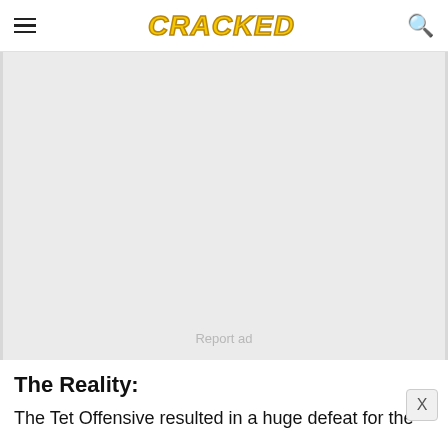CRACKED
[Figure (other): Grey advertisement placeholder box with 'Report ad' text at the bottom center]
The Reality:
The Tet Offensive resulted in a huge defeat for the